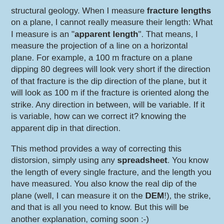structural geology. When I measure fracture lengths on a plane, I cannot really measure their length: What I measure is an "apparent length". That means, I measure the projection of a line on a horizontal plane. For example, a 100 m fracture on a plane dipping 80 degrees will look very short if the direction of that fracture is the dip direction of the plane, but it will look as 100 m if the fracture is oriented along the strike. Any direction in between, will be variable. If it is variable, how can we correct it? knowing the apparent dip in that direction.
This method provides a way of correcting this distorsion, simply using any spreadsheet. You know the length of every single fracture, and the length you have measured. You also know the real dip of the plane (well, I can measure it on the DEM!), the strike, and that is all you need to know. But this will be another explanation, coming soon :-)
Feel free to make any comments, or perhaps any correction of suggestion. Hopefully this has been useful for you.